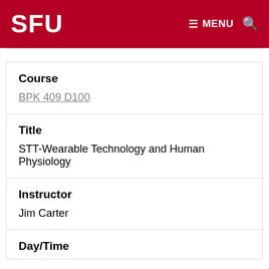SFU | MENU
| Field | Value |
| --- | --- |
| Course | BPK 409 D100 |
| Title | STT-Wearable Technology and Human Physiology |
| Instructor | Jim Carter |
| Day/Time |  |